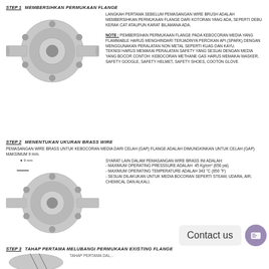STEP 1   MEMBERSIHKAN PERMUKAAN FLANGE
[Figure (engineering-diagram): 3D isometric illustration of a flange fitting with bolt holes and pipe stubs on both ends, grey metallic appearance]
LANGKAH PERTAMA SEBELUM PEMASANGAN WIRE BRUSH ADALAH MEMBERSIHKAN PERMUKAAN FLANGE DARI KOTORAN YANG ADA, SEPERTI DEBU KERAK CAT ATAUPUN KARAT BILAMANA ADA.

NOTE : PEMBERSIHAN PERMUKAAN FLANGE PADA KEBOCORAN MEDIA YANG FLAMMABLE HARUS MENGHINDARI TERJADINYA PERCIKAN API (SPARK) DENGAN MENGGUNAKAN PERALATAN NON METAL SEPERTI KUAS DAN KAYU.
TEKNISI HARUS MEMAKAI PERALATAN SAFETY YANG SESUAI DENGAN MEDIA YANG BOCOR CONTOH: KEBOCORAN METHANE GAS HARUS MEMAKAI MASKER, SAFETY GOOGLE, SAFETY HELMET, SAFETY SHOES, COOTON GLOVE
STEP 2   MENENTUKAN UKURAN BRASS WIRE
PEMASANGAN WIRE BRASS UNTUK KEBOCORAN MEDIA DARI CELAH (GAP) FLANGE ADALAH DIMUNGKINKAN UNTUK CELAH (GAP) MAKSIMUM 9 mm.
[Figure (engineering-diagram): 3D isometric illustration of a flange fitting with a 9mm gap indicated by an arrow, grey metallic appearance]
SYARAT LAIN DALAM PEMASANGAN WIRE BRASS INI ADALAH:
- MAXIMUM OPERATING PRESSSURE ADALAH 45 Kg/cm2 (650 psi)
- MAXIMUM OPERATING TEMPERATURE ADALAH 343 °C (650 °F)
- SESUAI DILAKUKAN UNTUK MEDIA BOCORAN SEPERTI STEAM, UDARA, AIR, CHEMICAL DAN ALKALI.
Contact us
STEP 3   TAHAP PERTAMA MELUBANGI PERMUKAAN EXISTING FLANGE
[Figure (engineering-diagram): Partial view of flange diagram for step 3, cropped at bottom of page]
TAHAP PERTAMA DAL...